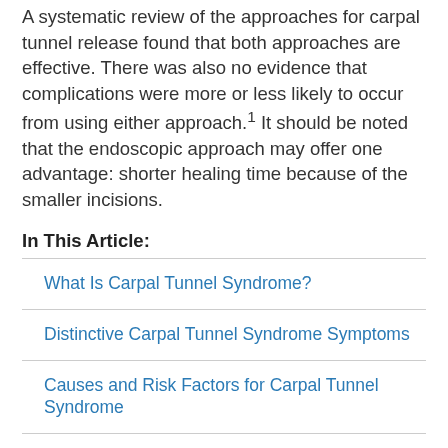A systematic review of the approaches for carpal tunnel release found that both approaches are effective. There was also no evidence that complications were more or less likely to occur from using either approach.1 It should be noted that the endoscopic approach may offer one advantage: shorter healing time because of the smaller incisions.
In This Article:
What Is Carpal Tunnel Syndrome?
Distinctive Carpal Tunnel Syndrome Symptoms
Causes and Risk Factors for Carpal Tunnel Syndrome
Diagnosing Carpal Tunnel Syndrome
Treatment Options for Carpal Tunnel Syndrome
Surgery for Carpal Tunnel Syndrome